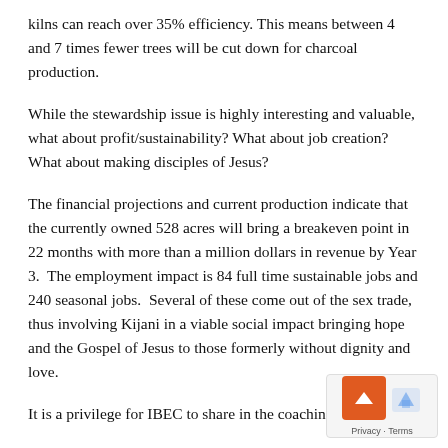kilns can reach over 35% efficiency. This means between 4 and 7 times fewer trees will be cut down for charcoal production.
While the stewardship issue is highly interesting and valuable, what about profit/sustainability? What about job creation?  What about making disciples of Jesus?
The financial projections and current production indicate that the currently owned 528 acres will bring a breakeven point in 22 months with more than a million dollars in revenue by Year 3.  The employment impact is 84 full time sustainable jobs and 240 seasonal jobs.  Several of these come out of the sex trade, thus involving Kijani in a viable social impact bringing hope and the Gospel of Jesus to those formerly without dignity and love.
It is a privilege for IBEC to share in the coaching of a